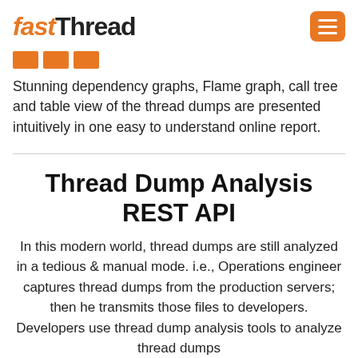fastThread
[Figure (other): Three orange rectangular bar icons]
Stunning dependency graphs, Flame graph, call tree and table view of the thread dumps are presented intuitively in one easy to understand online report.
Thread Dump Analysis REST API
In this modern world, thread dumps are still analyzed in a tedious & manual mode. i.e., Operations engineer captures thread dumps from the production servers; then he transmits those files to developers. Developers use thread dump analysis tools to analyze thread dumps